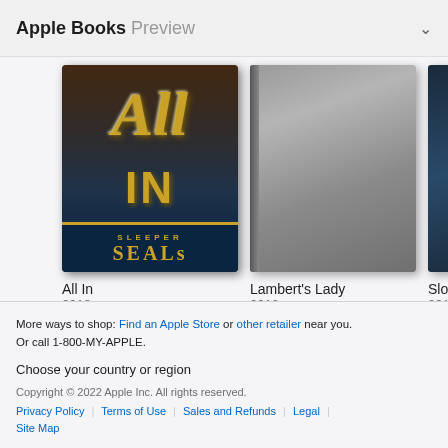Apple Books Preview
[Figure (photo): Book cover for 'All In' from the Sleeper SEALs series, 2018. Dark cover with gold stylized lettering 'All In' and 'Sleeper SEALs' text at bottom, partial image of a man.]
[Figure (photo): Book cover for 'Lambert's Lady', 2018. Gray/loading placeholder cover.]
[Figure (photo): Partial book cover, partially cropped, 2018.]
All In
2018
Lambert's Lady
2018
Slo
201
More ways to shop: Find an Apple Store or other retailer near you.
Or call 1-800-MY-APPLE.
Choose your country or region
Copyright © 2022 Apple Inc. All rights reserved.
Privacy Policy | Terms of Use | Sales and Refunds | Legal | Site Map